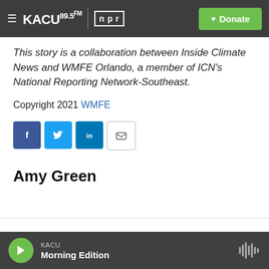KACU 89.5FM | NPR | Donate
This story is a collaboration between Inside Climate News and WMFE Orlando, a member of ICN's National Reporting Network-Southeast.
Copyright 2021 WMFE
[Figure (infographic): Social sharing icons: Facebook, Twitter, LinkedIn, Email]
Amy Green
KACU | Morning Edition (player bar)